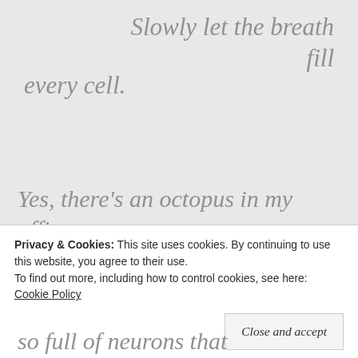Slowly let the breath fill every cell.
Yes, there's an octopus in my office, come from the ocean where movements may be fluid
so full of neurons that
Privacy & Cookies: This site uses cookies. By continuing to use this website, you agree to their use.
To find out more, including how to control cookies, see here: Cookie Policy